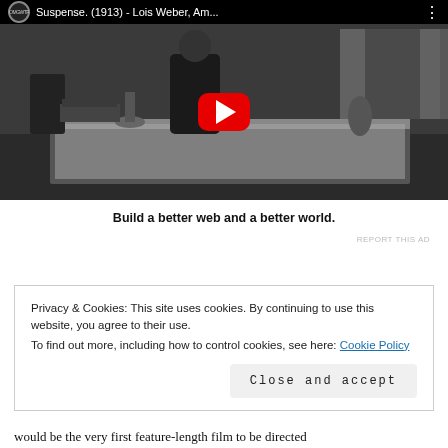[Figure (screenshot): YouTube video thumbnail screenshot showing a black and white film still with a man standing near a table. The video title reads 'Suspense. (1913) - Lois Weber, Am...' with a YouTube play button overlay and channel logo.]
Build a better web and a better world.
REPORT THIS AD
Privacy & Cookies: This site uses cookies. By continuing to use this website, you agree to their use.
To find out more, including how to control cookies, see here: Cookie Policy
Close and accept
would be the very first feature-length film to be directed